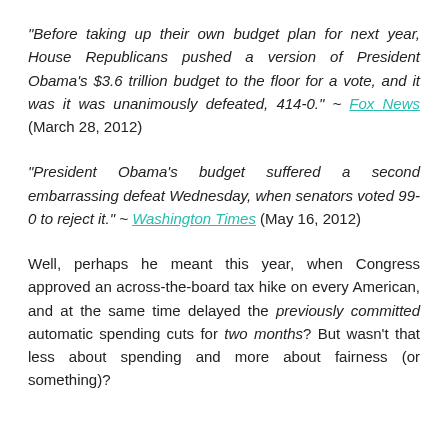"Before taking up their own budget plan for next year, House Republicans pushed a version of President Obama's $3.6 trillion budget to the floor for a vote, and it was it was unanimously defeated, 414-0." ~ Fox News (March 28, 2012)
"President Obama's budget suffered a second embarrassing defeat Wednesday, when senators voted 99-0 to reject it." ~ Washington Times (May 16, 2012)
Well, perhaps he meant this year, when Congress approved an across-the-board tax hike on every American, and at the same time delayed the previously committed automatic spending cuts for two months? But wasn't that less about spending and more about fairness (or something)?